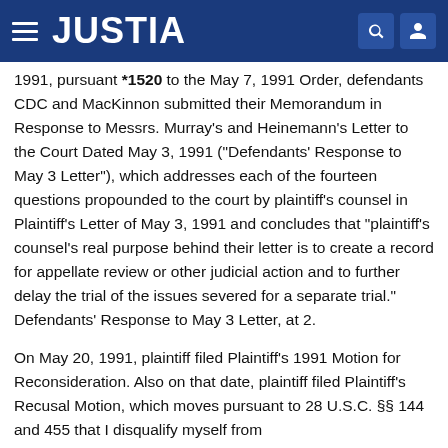JUSTIA
1991, pursuant *1520 to the May 7, 1991 Order, defendants CDC and MacKinnon submitted their Memorandum in Response to Messrs. Murray's and Heinemann's Letter to the Court Dated May 3, 1991 ("Defendants' Response to May 3 Letter"), which addresses each of the fourteen questions propounded to the court by plaintiff's counsel in Plaintiff's Letter of May 3, 1991 and concludes that "plaintiff's counsel's real purpose behind their letter is to create a record for appellate review or other judicial action and to further delay the trial of the issues severed for a separate trial." Defendants' Response to May 3 Letter, at 2.
On May 20, 1991, plaintiff filed Plaintiff's 1991 Motion for Reconsideration. Also on that date, plaintiff filed Plaintiff's Recusal Motion, which moves pursuant to 28 U.S.C. §§ 144 and 455 that I disqualify myself from